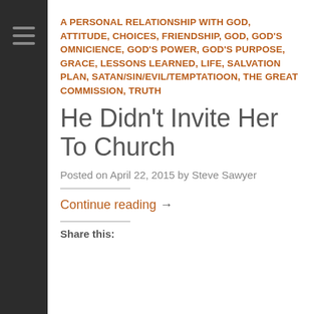A PERSONAL RELATIONSHIP WITH GOD, ATTITUDE, CHOICES, FRIENDSHIP, GOD, GOD'S OMNICIENCE, GOD'S POWER, GOD'S PURPOSE, GRACE, LESSONS LEARNED, LIFE, SALVATION PLAN, SATAN/SIN/EVIL/TEMPTATIOON, THE GREAT COMMISSION, TRUTH
He Didn't Invite Her To Church
Posted on April 22, 2015 by Steve Sawyer
Continue reading →
Share this: